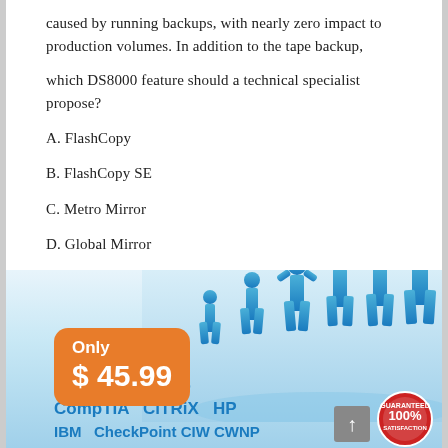caused by running backups, with nearly zero impact to production volumes. In addition to the tape backup,
which DS8000 feature should a technical specialist propose?
A. FlashCopy
B. FlashCopy SE
C. Metro Mirror
D. Global Mirror
Correct Answer: A
[Figure (infographic): Advertisement banner showing blue silhouettes of business people standing on puzzle pieces, with an orange price badge reading 'Only $45.99', brand names Microsoft, Cisco, CompTIA, CiTRiX, HP, IBM, CheckPoint, CIW, CWNP in blue text, a 100% satisfaction guarantee seal, and a scroll-up button.]